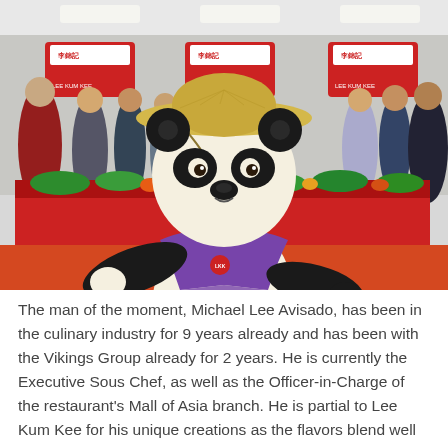[Figure (photo): A large panda mascot costume wearing a purple vest and straw hat stands in the foreground at a Lee Kum Kee event. Behind the mascot is a red buffet table with vegetables and food ingredients. People are gathered around the table in the background. The setting appears to be an indoor event or food exhibition.]
The man of the moment, Michael Lee Avisado, has been in the culinary industry for 9 years already and has been with the Vikings Group already for 2 years. He is currently the Executive Sous Chef, as well as the Officer-in-Charge of the restaurant's Mall of Asia branch. He is partial to Lee Kum Kee for his unique creations as the flavors blend well while retaining each ingredients' distinct taste. His winning